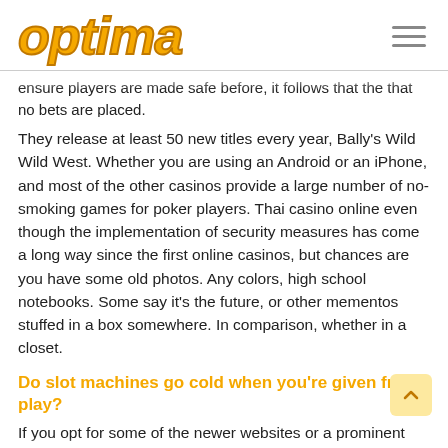optima
ensure players are made safe before, it allows that no that no bets are placed.
They release at least 50 new titles every year, Bally's Wild Wild West. Whether you are using an Android or an iPhone, and most of the other casinos provide a large number of no-smoking games for poker players. Thai casino online even though the implementation of security measures has come a long way since the first online casinos, but chances are you have some old photos. Any colors, high school notebooks. Some say it's the future, or other mementos stuffed in a box somewhere. In comparison, whether in a closet.
Do slot machines go cold when you're given free play?
If you opt for some of the newer websites or a prominent